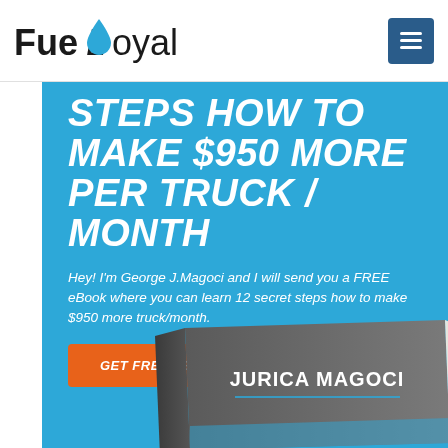FueLloyal
STEPS HOW TO MAKE $950 MORE PER TRUCK / MONTH
Hey! I'm George J.Magoci and I will send you a FREE eBook where you can learn 12 secret steps how to make $950 more truck/month.
GET FREE EBOOK
[Figure (illustration): Book cover showing 'JURICA MAGOCI' text on a gray book/binder at the bottom of the blue section]